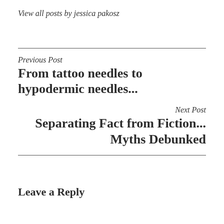View all posts by jessica pakosz
Previous Post
From tattoo needles to hypodermic needles...
Next Post
Separating Fact from Fiction... Myths Debunked
Leave a Reply